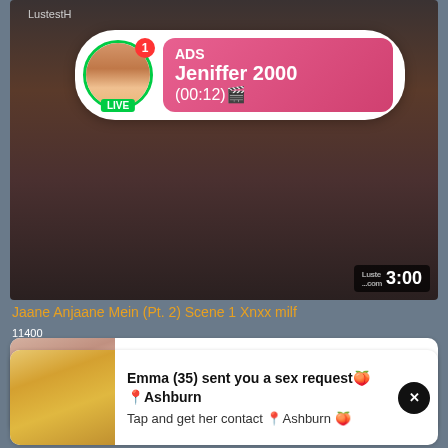[Figure (screenshot): Video player showing adult content with dark blurred background, timestamp 3:00 and Luste site watermark. LustestH overlay text visible top left.]
[Figure (infographic): Notification popup overlay with circular avatar (woman with phone selfie), LIVE green badge, red notification badge with 1, and pink gradient content box showing ADS label, name Jeniffer 2000, and time (00:12)]
Jaane Anjaane Mein (Pt. 2) Scene 1 Xnxx milf
11400
[Figure (infographic): Ad notification card 1 with thumbnail of woman, text: Anna (35) sent you a sex request🍑 📍Ashburn. Tap and get her contact 📍Ashburn 🍑. Close X button black circle.]
[Figure (infographic): Ad notification card 2 with thumbnail of woman in orange outfit, text: Emma (35) sent you a sex request🍑📍Ashburn. Tap and get her contact 📍Ashburn 🍑. Close X button black circle.]